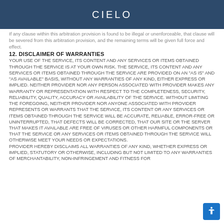CIELO
If any clause within this arbitration provision is found to be illegal or unenforceable, that clause will be severed from this arbitration provision, and the remaining terms will be given full force and effect.
12. DISCLAIMER OF WARRANTIES
YOUR USE OF THE SERVICE, ITS CONTENT AND ANY SERVICES OR ITEMS OBTAINED THROUGH THE SERVICE IS AT YOUR OWN RISK. THE SERVICE, ITS CONTENT AND ANY SERVICES OR ITEMS OBTAINED THROUGH THE SERVICE ARE PROVIDED ON AN "AS IS" AND "AS AVAILABLE" BASIS, WITHOUT ANY WARRANTIES OF ANY KIND, EITHER EXPRESS OR IMPLIED. NEITHER PROVIDER NOR ANY PERSON ASSOCIATED WITH PROVIDER MAKES ANY WARRANTY OR REPRESENTATION WITH RESPECT TO THE COMPLETENESS, SECURITY, RELIABILITY, QUALITY, ACCURACY OR AVAILABILITY OF THE SERVICE. WITHOUT LIMITING THE FOREGOING, NEITHER PROVIDER NOR ANYONE ASSOCIATED WITH PROVIDER REPRESENTS OR WARRANTS THAT THE SERVICE, ITS CONTENT OR ANY SERVICES OR ITEMS OBTAINED THROUGH THE SERVICE WILL BE ACCURATE, RELIABLE, ERROR-FREE OR UNINTERRUPTED, THAT DEFECTS WILL BE CORRECTED, THAT OUR SITE OR THE SERVER THAT MAKES IT AVAILABLE ARE FREE OF VIRUSES OR OTHER HARMFUL COMPONENTS OR THAT THE SERVICE OR ANY SERVICES OR ITEMS OBTAINED THROUGH THE SERVICE WILL OTHERWISE MEET YOUR NEEDS OR EXPECTATIONS. PROVIDER HEREBY DISCLAIMS ALL WARRANTIES OF ANY KIND, WHETHER EXPRESS OR IMPLIED, STATUTORY OR OTHERWISE, INCLUDING BUT NOT LIMITED TO ANY WARRANTIES OF MERCHANTABILITY, NON-INFRINGEMENT AND FITNESS FOR